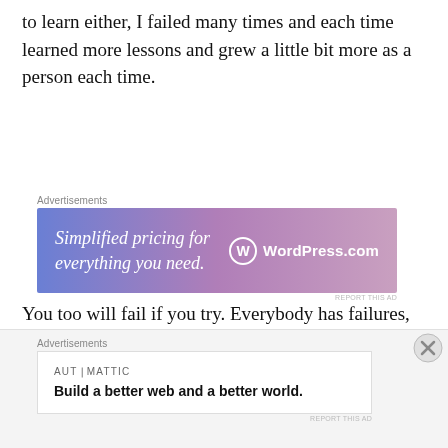to learn either, I failed many times and each time learned more lessons and grew a little bit more as a person each time.
[Figure (other): WordPress.com advertisement banner with gradient background (blue to pink/purple). Text reads 'Simplified pricing for everything you need.' with WordPress.com logo on the right.]
You too will fail if you try. Everybody has failures, whether big or small, if you've ever truly tried to succeed, you have failed. If you can take these failures and learn something to better yourself each time, you're moving further along on the Climb to Success.
[Figure (other): Automattic advertisement. Text reads 'AUTOMATTIC' and 'Build a better web and a better world.']